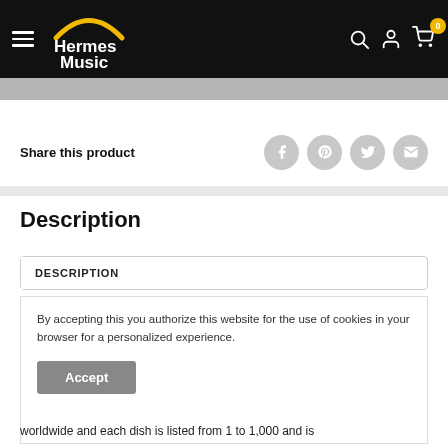[Figure (logo): Hermes Music logo with yellow arc and white text on black navbar, with hamburger menu, search icon, account icon, and cart icon with badge showing 0]
Share this product
Description
DESCRIPTION
By accepting this you authorize this website for the use of cookies in your browser for a personalized experience.
Accept
worldwide and each dish is listed from 1 to 1,000 and is